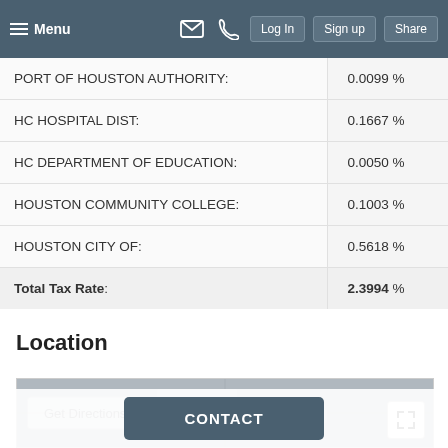Menu | Log In | Sign up | Share
| Entity | Rate |
| --- | --- |
| PORT OF HOUSTON AUTHORITY: | 0.0099 % |
| HC HOSPITAL DIST: | 0.1667 % |
| HC DEPARTMENT OF EDUCATION: | 0.0050 % |
| HOUSTON COMMUNITY COLLEGE: | 0.1003 % |
| HOUSTON CITY OF: | 0.5618 % |
| Total Tax Rate: | 2.3994 % |
Location
[Figure (map): Map area with Get Directions button and expand icon]